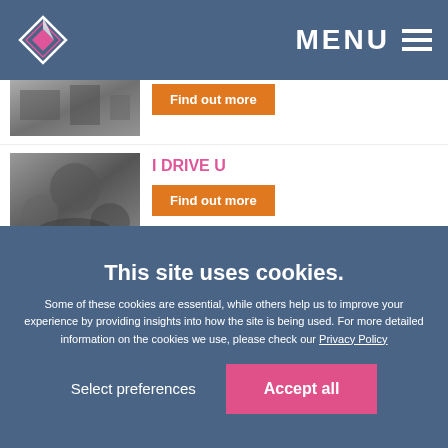MENU
[Figure (photo): Black and white photo of street scene (partially cropped at top)]
Find out more
[Figure (photo): Black and white photo of people gathered, viewed from above]
I DRIVE U
Find out more
[Figure (logo): Delta Security Management logo - smarter security solutions]
Welcome To Your January Newsletter - Delta Security Management
Find out more
This site uses cookies.
Some of these cookies are essential, while others help us to improve your experience by providing insights into how the site is being used. For more detailed information on the cookies we use, please check our Privacy Policy
Select preferences
Accept all